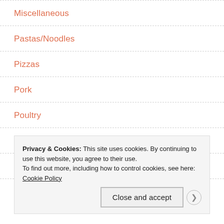Miscellaneous
Pastas/Noodles
Pizzas
Pork
Poultry
Reviews
Salads
Privacy & Cookies: This site uses cookies. By continuing to use this website, you agree to their use.
To find out more, including how to control cookies, see here: Cookie Policy
Close and accept